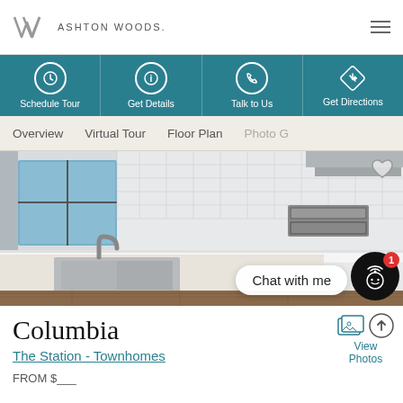[Figure (logo): Ashton Woods logo with AW monogram and text]
ASHTON WOODS.
Schedule Tour
Get Details
Talk to Us
Get Directions
Overview
Virtual Tour
Floor Plan
Photo G
[Figure (photo): Kitchen interior with white cabinets, stainless steel appliances, white subway tile backsplash, and sink]
Chat with me
Columbia
The Station - Townhomes